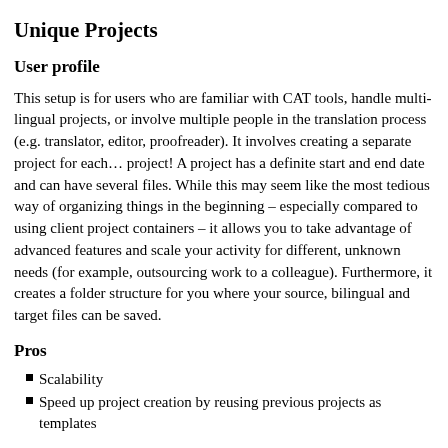Unique Projects
User profile
This setup is for users who are familiar with CAT tools, handle multi-lingual projects, or involve multiple people in the translation process (e.g. translator, editor, proofreader). It involves creating a separate project for each… project! A project has a definite start and end date and can have several files. While this may seem like the most tedious way of organizing things in the beginning – especially compared to using client project containers – it allows you to take advantage of advanced features and scale your activity for different, unknown needs (for example, outsourcing work to a colleague). Furthermore, it creates a folder structure for you where your source, bilingual and target files can be saved.
Pros
Scalability
Speed up project creation by reusing previous projects as templates